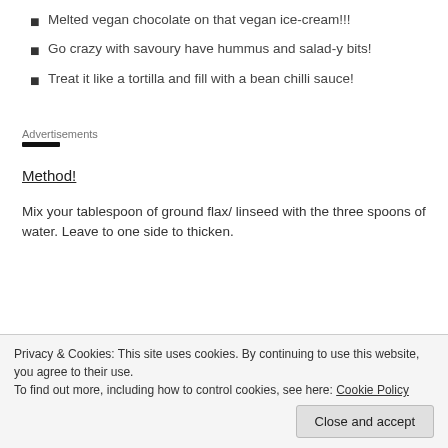Melted vegan chocolate on that vegan ice-cream!!!
Go crazy with savoury have hummus and salad-y bits!
Treat it like a tortilla and fill with a bean chilli sauce!
Advertisements
Method!
Mix your tablespoon of ground flax/ linseed with the three spoons of water. Leave to one side to thicken.
Privacy & Cookies: This site uses cookies. By continuing to use this website, you agree to their use. To find out more, including how to control cookies, see here: Cookie Policy
Close and accept